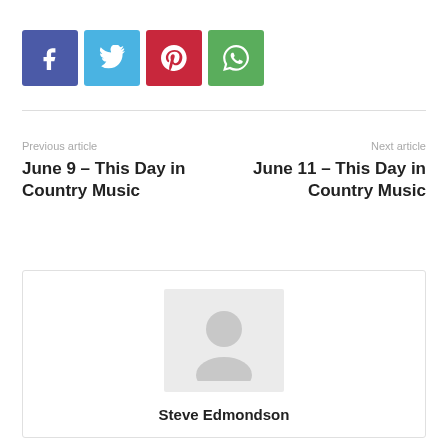[Figure (infographic): Social media share buttons: Facebook (blue), Twitter (light blue), Pinterest (red), WhatsApp (green)]
Previous article
Next article
June 9 – This Day in Country Music
June 11 – This Day in Country Music
[Figure (photo): Author avatar placeholder image (grey silhouette)]
Steve Edmondson